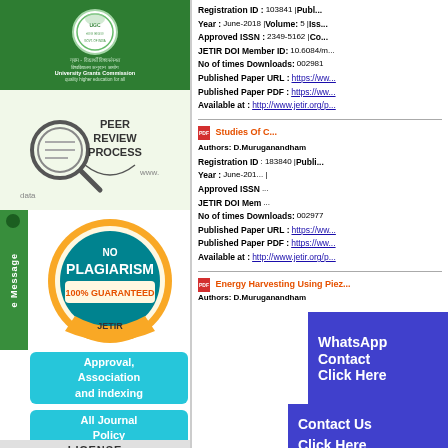[Figure (logo): University Grants Commission green banner with logo and text]
[Figure (illustration): Peer Review Process diagram with magnifying glass]
[Figure (illustration): No Plagiarism 100% Guaranteed JETIR seal/badge]
Approval, Association and indexing
All Journal Policy
LICENSE
e Message
Registration ID : 103841 | Publication Year : June-2018 | Volume: 5 | Issue: 6 | Approved ISSN : 2349-5162 | Country: India | JETIR DOI Member ID: 10.6084/m... | No of times Downloads: 002981 | Published Paper URL : https://ww... | Published Paper PDF : https://ww... | Available at : http://www.jetir.org/p...
WhatsApp Contact Click Here
Studies Of C...
Authors: D.Muruganandham
Registration ID : 183840 | Publication Year : June-201... | Approved ISSN... | JETIR DOI Mem... | No of times Downloads: 002977 | Published Paper URL : https://ww... | Published Paper PDF : https://ww... | Available at : http://www.jetir.org/p...
Contact Us Click Here
Energy Harvesting Using Piez...
Authors: D.Muruganandham